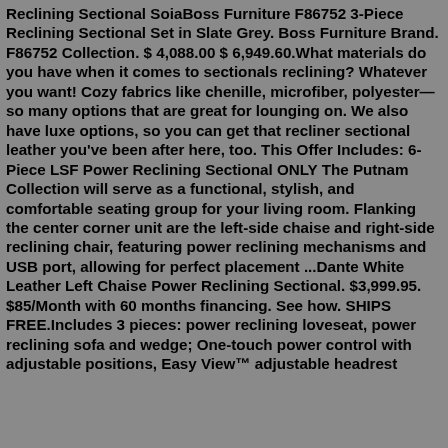Reclining Sectional SoiaBoss Furniture F86752 3-Piece Reclining Sectional Set in Slate Grey. Boss Furniture Brand. F86752 Collection. $ 4,088.00 $ 6,949.60.What materials do you have when it comes to sectionals reclining? Whatever you want! Cozy fabrics like chenille, microfiber, polyester—so many options that are great for lounging on. We also have luxe options, so you can get that recliner sectional leather you've been after here, too. This Offer Includes: 6-Piece LSF Power Reclining Sectional ONLY The Putnam Collection will serve as a functional, stylish, and comfortable seating group for your living room. Flanking the center corner unit are the left-side chaise and right-side reclining chair, featuring power reclining mechanisms and USB port, allowing for perfect placement ...Dante White Leather Left Chaise Power Reclining Sectional. $3,999.95. $85/Month with 60 months financing. See how. SHIPS FREE.Includes 3 pieces: power reclining loveseat, power reclining sofa and wedge; One-touch power control with adjustable positions, Easy View™ adjustable headrest